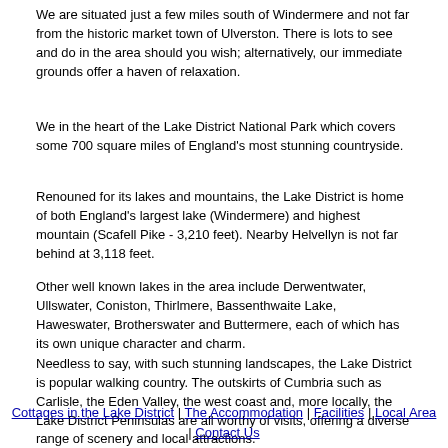We are situated just a few miles south of Windermere and not far from the historic market town of Ulverston. There is lots to see and do in the area should you wish; alternatively, our immediate grounds offer a haven of relaxation.
We in the heart of the Lake District National Park which covers some 700 square miles of England's most stunning countryside.
Renouned for its lakes and mountains, the Lake District is home of both England's largest lake (Windermere) and highest mountain (Scafell Pike - 3,210 feet). Nearby Helvellyn is not far behind at 3,118 feet.
Other well known lakes in the area include Derwentwater, Ullswater, Coniston, Thirlmere, Bassenthwaite Lake, Haweswater, Brotherswater and Buttermere, each of which has its own unique character and charm.
Needless to say, with such stunning landscapes, the Lake District is popular walking country. The outskirts of Cumbria such as Carlisle, the Eden Valley, the west coast and, more locally, the Lake District Peninsulas are all worthy of visits, offering a diverse range of scenery and local attractions.
It is therefore no wonder that the Lake District is England's most popular tourist destination outside London!
Cottages in the Lake District | The Accommodation | Facilities | Local Area | Contact Us